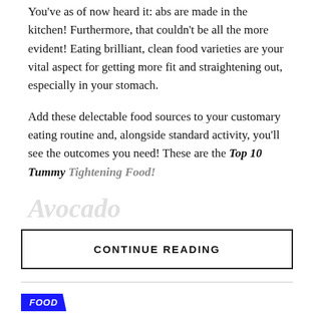You've as of now heard it: abs are made in the kitchen! Furthermore, that couldn't be all the more evident! Eating brilliant, clean food varieties are your vital aspect for getting more fit and straightening out, especially in your stomach.
Add these delectable food sources to your customary eating routine and, alongside standard activity, you'll see the outcomes you need! These are the Top 10 Tummy Tightening Food!
Avocado
CONTINUE READING
FOOD
Top 15+ Creative TikTok Birthday